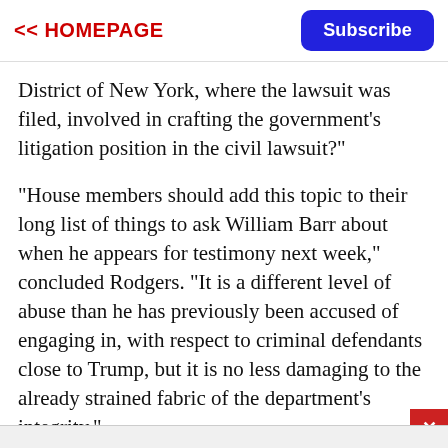<< HOMEPAGE | Subscribe
District of New York, where the lawsuit was filed, involved in crafting the government's litigation position in the civil lawsuit?"
"House members should add this topic to their long list of things to ask William Barr about when he appears for testimony next week," concluded Rodgers. "It is a different level of abuse than he has previously been accused of engaging in, with respect to criminal defendants close to Trump, but it is no less damaging to the already strained fabric of the department's integrity."